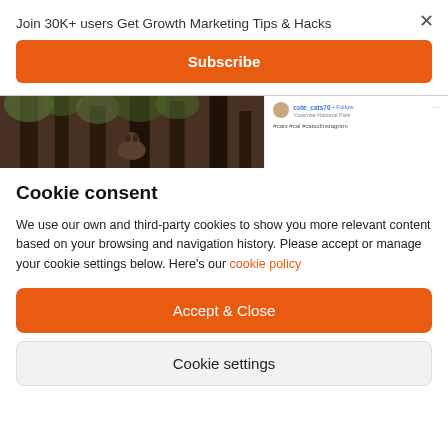Join 30K+ users Get Growth Marketing Tips & Hacks
Subscribe
[Figure (screenshot): Partial screenshot of a webpage with a forest/nature photo on the left and an Instagram post preview on the right showing a raccoon in Yosemite National Park with hashtags #cats #cal #catsofinstagram]
Cookie consent
We use our own and third-party cookies to show you more relevant content based on your browsing and navigation history. Please accept or manage your cookie settings below. Here's our cookie policy
Accept & Close
Cookie settings